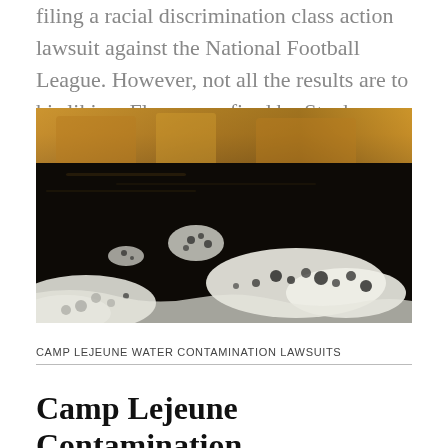filing a racial discrimination class action lawsuit against the National Football League. However, not all the results are to his liking. Flores was fired by Stephen...
[Figure (photo): Photograph of contaminated water with foam and bubbles on the surface, with rocky golden-brown cliffs or walls reflected in the dark water in the background.]
CAMP LEJEUNE WATER CONTAMINATION LAWSUITS
Camp Lejeune Contamination